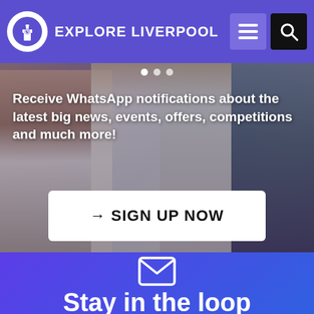EXPLORE LIVERPOOL
[Figure (screenshot): Photo of two young people laughing and looking at phones, outdoors in Liverpool]
Receive WhatsApp notifications about the latest big news, events, offers, competitions and much more!
→ SIGN UP NOW
[Figure (illustration): Email envelope icon on gradient purple-blue background]
Stay in the loop